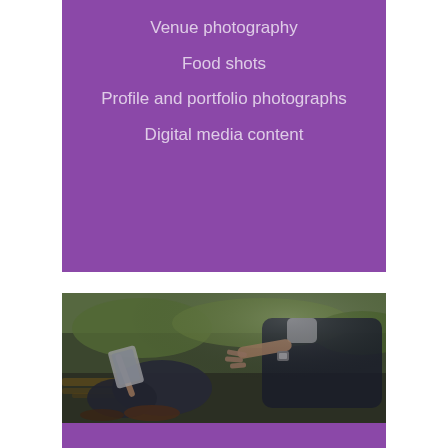Venue photography
Food shots
Profile and portfolio photographs
Digital media content
[Figure (photo): Two people sitting on a wooden bench outdoors. One person holds a tablet/iPad while the other gestures with their hands, appearing to be in a business discussion. Green foliage visible in background.]